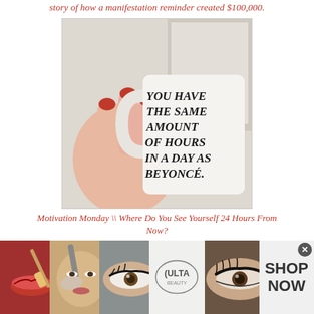story of how a manifestation reminder created $100,000.
[Figure (photo): A hand with red nails holding a white coffee mug. The mug reads: YOU HAVE THE SAME AMOUNT OF HOURS IN A DAY AS BEYONCÉ.]
Motivation Monday \\ Where Do You See Yourself 24 Hours From Now?
[Figure (photo): Partial view of a second image, mostly grey/white, cut off at bottom of visible area.]
[Figure (advertisement): Ulta Beauty advertisement strip showing close-up makeup photos (red lips with brush, powder brush, eye with liner, Ulta Beauty logo, dramatic eye makeup) and a SHOP NOW button with an X close button.]